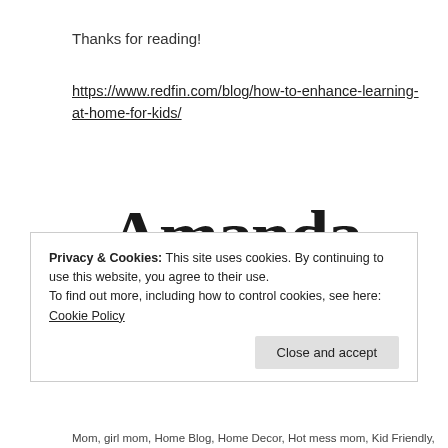Thanks for reading!
https://www.redfin.com/blog/how-to-enhance-learning-at-home-for-kids/
[Figure (illustration): Handwritten cursive signature reading '-Amanda' in large bold script]
Privacy & Cookies: This site uses cookies. By continuing to use this website, you agree to their use.
To find out more, including how to control cookies, see here: Cookie Policy
Close and accept
Mom, girl mom, Home Blog, Home Decor, Hot mess mom, Kid Friendly,